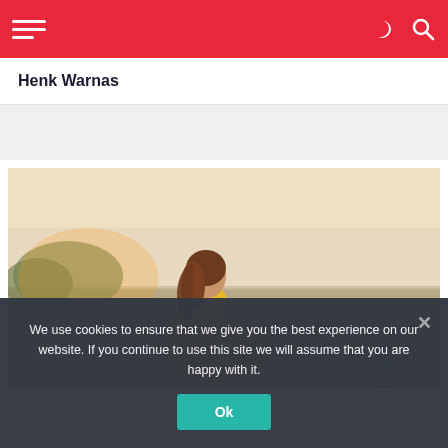Navigation header with hamburger menu, moon icon, and search icon
Henk Warnas
[Figure (photo): Woman in yellow floral dress sitting on a dock by a lake, looking upward, sunset lighting, with a no-entry sign visible in the background]
We use cookies to ensure that we give you the best experience on our website. If you continue to use this site we will assume that you are happy with it.